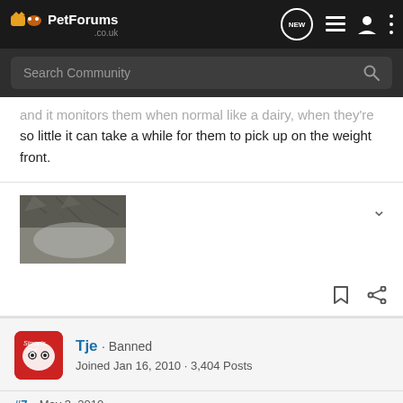PetForums .co.uk
and it monitors them when normal like a dairy, when they're so little it can take a while for them to pick up on the weight front.
[Figure (photo): Close-up photo of a cat's face/fur, side view showing top of head and ears]
Tje · Banned
Joined Jan 16, 2010 · 3,404 Posts
#7 · May 3, 2010